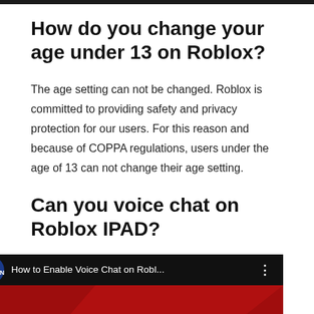How do you change your age under 13 on Roblox?
The age setting can not be changed. Roblox is committed to providing safety and privacy protection for our users. For this reason and because of COPPA regulations, users under the age of 13 can not change their age setting.
Can you voice chat on Roblox IPAD?
[Figure (screenshot): YouTube video thumbnail showing 'How to Enable Voice Chat on Robl...' by Max Dalton channel, with red background thumbnail showing 'HOW TO ENABI' text in large white letters]